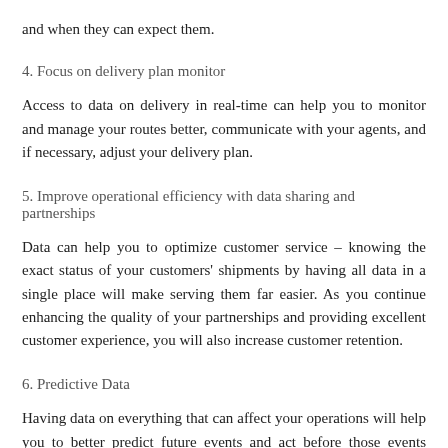and when they can expect them.
4. Focus on delivery plan monitor
Access to data on delivery in real-time can help you to monitor and manage your routes better, communicate with your agents, and if necessary, adjust your delivery plan.
5. Improve operational efficiency with data sharing and partnerships
Data can help you to optimize customer service – knowing the exact status of your customers' shipments by having all data in a single place will make serving them far easier. As you continue enhancing the quality of your partnerships and providing excellent customer experience, you will also increase customer retention.
6. Predictive Data
Having data on everything that can affect your operations will help you to better predict future events and act before those events would